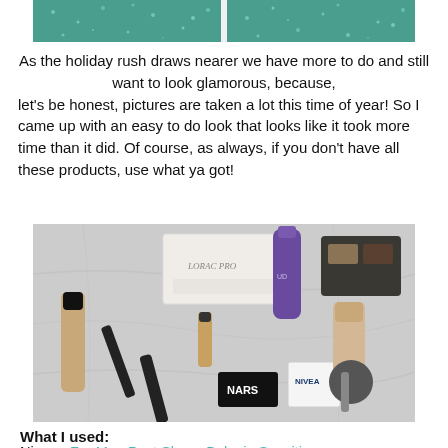[Figure (photo): Cropped photo showing teal/green sparkly fabric or surface, split into two panels]
As the holiday rush draws nearer we have more to do and still want to look glamorous, because, let's be honest, pictures are taken a lot this time of year! So I came up with an easy to do look that looks like it took more time than it did. Of course, as always, if you don't have all these products, use what ya got!
[Figure (photo): Flat lay photo of various makeup products on a marble surface including foundations, powders, palettes and brushes from brands like NARS, Nivea, Urban Decay, Laura Mercier, and Becca]
What I used:
Nivea - For Men Post Shave Balm in Sensitive
Nars - Sheer Glow in Gobi
Becca - Ultimate Coverage Concealing Crème in Praline
Laura Mercier - Translucent Loose Setting Powder